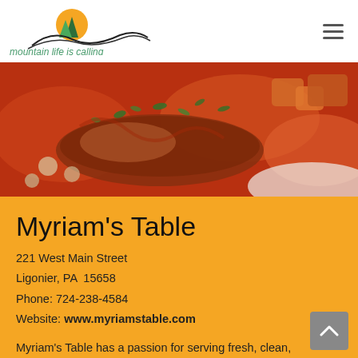[Figure (logo): Mountain Life Is Calling logo with mountain/tree graphic and tagline]
[Figure (photo): Close-up food photo showing braised meat with tomato sauce, herbs, and vegetables]
Myriam's Table
221 West Main Street
Ligonier, PA  15658
Phone: 724-238-4584
Website: www.myriamstable.com
Myriam's Table has a passion for serving fresh, clean, farm-to-table food with ingredients that are local, organic, and sustainable. Their commitment to farm-to-table lifestyle sets